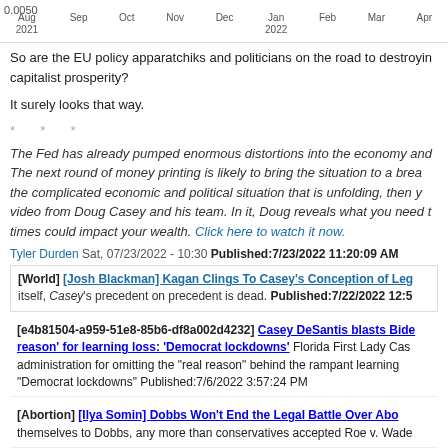[Figure (continuous-plot): Top strip of a time-series chart showing x-axis labels: Aug 2021, Sep, Oct, Nov, Dec, Jan 2022, Feb, Mar, Apr, and y-axis value 0.0050]
So are the EU policy apparatchiks and politicians on the road to destroying capitalist prosperity?
It surely looks that way.
* * *
The Fed has already pumped enormous distortions into the economy and The next round of money printing is likely to bring the situation to a break the complicated economic and political situation that is unfolding, then y video from Doug Casey and his team. In it, Doug reveals what you need t times could impact your wealth. Click here to watch it now.
Tyler Durden Sat, 07/23/2022 - 10:30 Published:7/23/2022 11:20:09 AM
[World] [Josh Blackman] Kagan Clings To Casey's Conception of Leg itself, Casey's precedent on precedent is dead. Published:7/22/2022 12:5
[e4b81504-a959-51e8-85b6-df8a002d4232] Casey DeSantis blasts Bide reason' for learning loss: 'Democrat lockdowns' Florida First Lady Cas administration for omitting the "real reason" behind the rampant learning "Democrat lockdowns" Published:7/6/2022 3:57:24 PM
[Abortion] [Ilya Somin] Dobbs Won't End the Legal Battle Over Abo themselves to Dobbs, any more than conservatives accepted Roe v. Wade